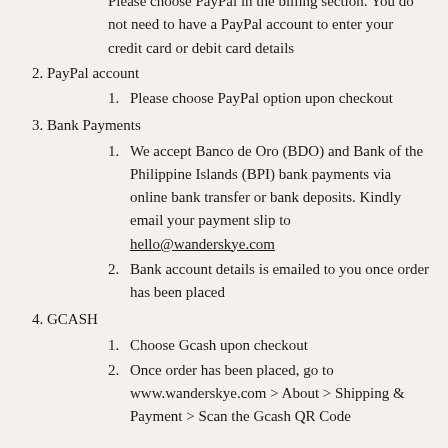Please choose PayPal in the billing section. You do not need to have a PayPal account to enter your credit card or debit card details
2. PayPal account
1. Please choose PayPal option upon checkout
3. Bank Payments
1. We accept Banco de Oro (BDO) and Bank of the Philippine Islands (BPI) bank payments via online bank transfer or bank deposits. Kindly email your payment slip to hello@wanderskye.com
2. Bank account details is emailed to you once order has been placed
4. GCASH
1. Choose Gcash upon checkout
2. Once order has been placed, go to www.wanderskye.com > About > Shipping & Payment > Scan the Gcash QR Code